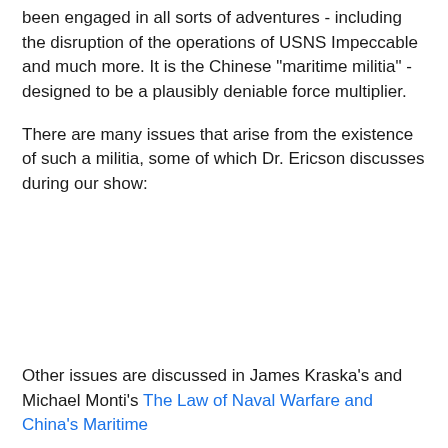been engaged in all sorts of adventures - including the disruption of the operations of USNS Impeccable and much more. It is the Chinese "maritime militia" - designed to be a plausibly deniable force multiplier.
There are many issues that arise from the existence of such a militia, some of which Dr. Ericson discusses during our show:
Other issues are discussed in James Kraska's and Michael Monti's The Law of Naval Warfare and China's Maritime